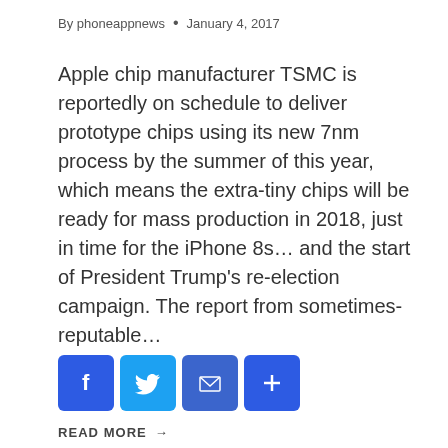By phoneappnews • January 4, 2017
Apple chip manufacturer TSMC is reportedly on schedule to deliver prototype chips using its new 7nm process by the summer of this year, which means the extra-tiny chips will be ready for mass production in 2018, just in time for the iPhone 8s… and the start of President Trump's re-election campaign. The report from sometimes-reputable…
[Figure (infographic): Social sharing buttons: Facebook (blue), Twitter (light blue), Email (blue), Share/Plus (blue)]
READ MORE →
[Figure (photo): Dark architectural photo with golden-brown tones, visible at bottom of page]